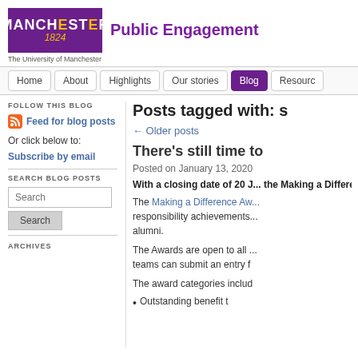[Figure (logo): University of Manchester logo with purple background showing MANCHESTER 1824 text and tagline 'The University of Manchester']
Public Engagement
Home | About | Highlights | Our stories | Blog | Resources
FOLLOW THIS BLOG
Feed for blog posts
Or click below to:
Subscribe by email
SEARCH BLOG POSTS
Posts tagged with: s
← Older posts
There's still time to
Posted on January 13, 2020
With a closing date of 20 J... the Making a Difference A
The Making a Difference Aw... responsibility achievements... alumni.
The Awards are open to all ... teams can submit an entry f
The award categories includ
Outstanding benefit t
ARCHIVES